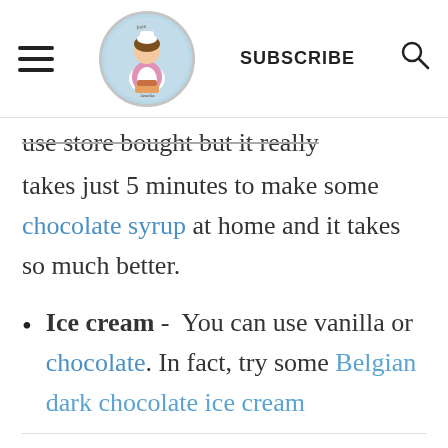SUBSCRIBE [logo] [hamburger menu] [search icon]
use store bought but it really takes just 5 minutes to make some chocolate syrup at home and it takes so much better.
Ice cream - You can use vanilla or chocolate. In fact, try some Belgian dark chocolate ice cream
Whipped cream - You can use